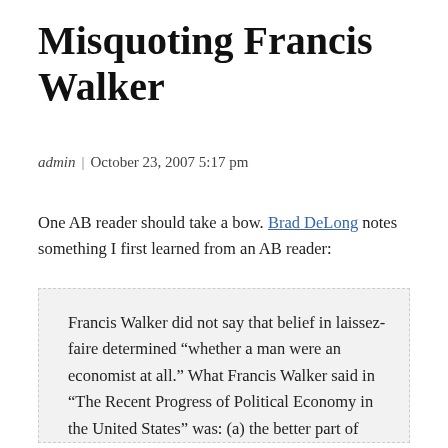Misquoting Francis Walker
admin | October 23, 2007 5:17 pm
One AB reader should take a bow. Brad DeLong notes something I first learned from an AB reader:
Francis Walker did not say that belief in laissez-faire determined “whether a man were an economist at all.” What Francis Walker said in “The Recent Progress of Political Economy in the United States” was: (a) the better part of economists had